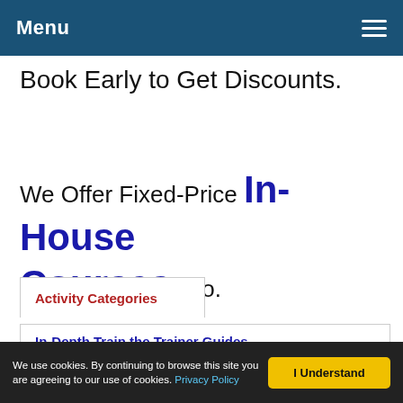Menu
Book Early to Get Discounts.
We Offer Fixed-Price In-House Courses Too.
Activity Categories
In-Depth Train the Trainer Guides
We use cookies. By continuing to browse this site you are agreeing to our use of cookies. Privacy Policy